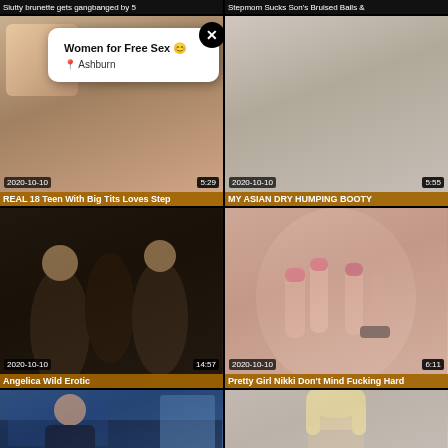Slutty brunette gets gangbanged by 5
Stepmom Sucks Son's Bruised Balls &
[Figure (screenshot): Video thumbnail with popup ad overlay: 'Women for Free Sex 😊 · Ashburn']
[Figure (screenshot): Video thumbnail partial view, right column top area]
REAL 18 Teen With Big Tits Loves Step
MY ASIAN DRY HUMPING BOOTY
[Figure (screenshot): Video thumbnail: Angelica Wild Erotic, date 2020-10-10, duration 14:57]
[Figure (screenshot): Video thumbnail: Pretty Girl Nikki Don't Mind Fucking Hard, date 2020-10-10, duration 6:11]
Angelica Wild Erotic
Pretty Girl Nikki Don't Mind Fucking Hard
[Figure (screenshot): Bottom left video thumbnail preview]
[Figure (screenshot): Bottom right video thumbnail preview - blonde woman]